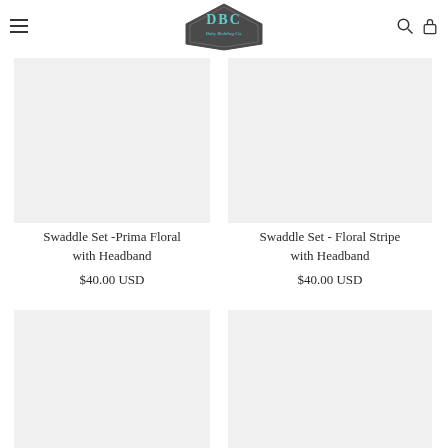[Figure (logo): DBC Baby Bedding Co logo - hexagon shape with teal/mint text 'DBC' and cursive text, 'Designed and Made in the USA']
Swaddle Set -Prima Floral with Headband
$40.00 USD
Swaddle Set - Floral Stripe with Headband
$40.00 USD